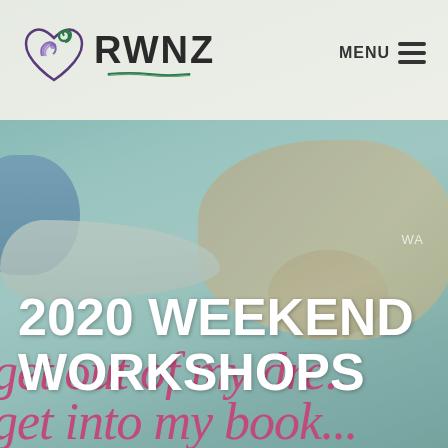[Figure (screenshot): RWNZ website screenshot showing header with logo and menu button, background photo of hands on body overlaid with teal/green tint, large white bold title '2020 WEEKEND WORKSHOPS', and decorative pink cursive script text partially visible reading 'get out of my dreams, get into my book']
RWNZ — MENU
2020 WEEKEND WORKSHOPS
get out of my dre... get into my book...